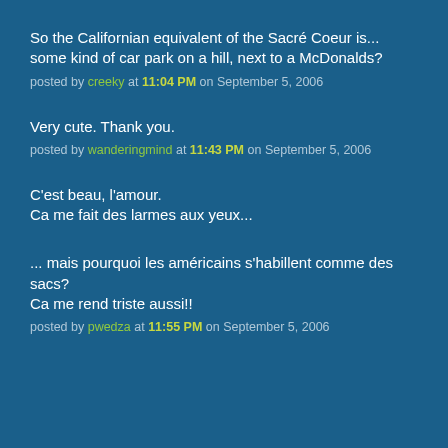So the Californian equivalent of the Sacré Coeur is... some kind of car park on a hill, next to a McDonalds?
posted by creeky at 11:04 PM on September 5, 2006
Very cute. Thank you.
posted by wanderingmind at 11:43 PM on September 5, 2006
C'est beau, l'amour.
Ca me fait des larmes aux yeux...
... mais pourquoi les américains s'habillent comme des sacs?
Ca me rend triste aussi!!
posted by pwedza at 11:55 PM on September 5, 2006